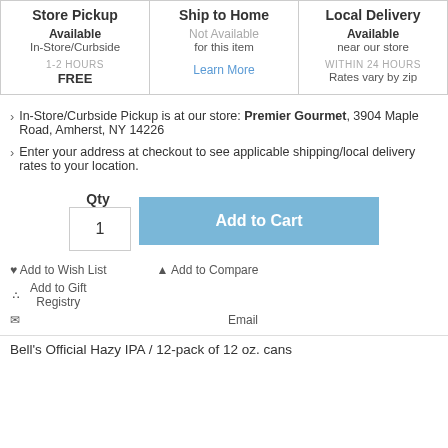| Store Pickup | Ship to Home | Local Delivery |
| --- | --- | --- |
| Available
In-Store/Curbside | Not Available
for this item
Learn More | Available
near our store |
| 1-2 HOURS
FREE |  | WITHIN 24 HOURS
Rates vary by zip |
In-Store/Curbside Pickup is at our store: Premier Gourmet, 3904 Maple Road, Amherst, NY 14226
Enter your address at checkout to see applicable shipping/local delivery rates to your location.
Qty
1
Add to Cart
Add to Wish List
Add to Compare
Add to Gift Registry
Email
Bell's Official Hazy IPA / 12-pack of 12 oz. cans